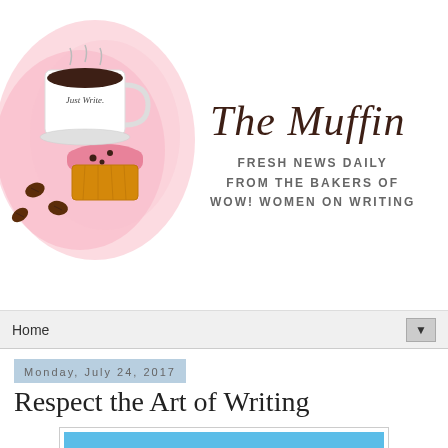[Figure (illustration): The Muffin blog header with watercolor pink splash, coffee cup labeled 'Just Write', a muffin, and coffee beans on the left; cursive title 'The Muffin' with subtitle 'FRESH NEWS DAILY FROM THE BAKERS OF WOW! WOMEN ON WRITING' on the right]
Home ▼
Monday, July 24, 2017
Respect the Art of Writing
[Figure (photo): Beach scene with blue sky and coastal houses along the shoreline]